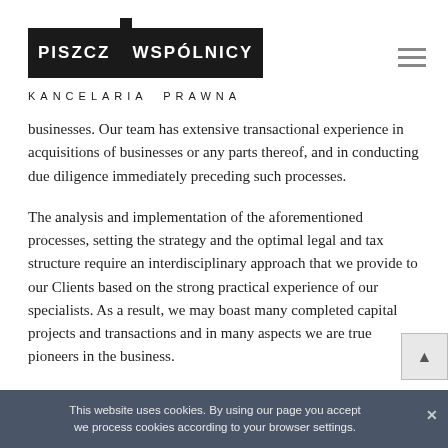PISZCZ WSPÓLNICY KANCELARIA PRAWNA
businesses. Our team has extensive transactional experience in acquisitions of businesses or any parts thereof, and in conducting due diligence immediately preceding such processes.
The analysis and implementation of the aforementioned processes, setting the strategy and the optimal legal and tax structure require an interdisciplinary approach that we provide to our Clients based on the strong practical experience of our specialists. As a result, we may boast many completed capital projects and transactions and in many aspects we are true pioneers in the business.
This website uses cookies. By using our page you accept we process cookies according to your browser settings.